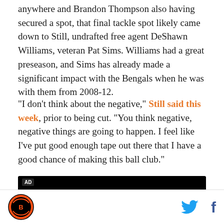anywhere and Brandon Thompson also having secured a spot, that final tackle spot likely came down to Still, undrafted free agent DeShawn Williams, veteran Pat Sims. Williams had a great preseason, and Sims has already made a significant impact with the Bengals when he was with them from 2008-12.
"I don't think about the negative," Still said this week, prior to being cut. "You think negative, negative things are going to happen. I feel like I've put good enough tape out there that I have a good chance of making this ball club."
[Figure (other): Advertisement box with AD label and WATCH LIVE button on black background]
Bengals logo, Twitter icon, Facebook icon